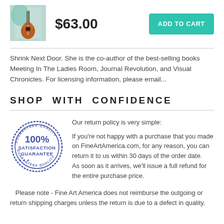[Figure (photo): Small thumbnail of a painting showing a guitar with colorful background]
$63.00
ADD TO CART
Shrink Next Door. She is the co-author of the best-selling books Meeting In The Ladies Room, Journal Revolution, and Visual Chronicles. For licensing information, please email...
SHOP WITH CONFIDENCE
[Figure (illustration): Blue circular stamp reading 100% SATISFACTION GUARANTEE with star decorations]
Our return policy is very simple:

If you're not happy with a purchase that you made on FineArtAmerica.com, for any reason, you can return it to us within 30 days of the order date.   As soon as it arrives, we'll issue a full refund for the entire purchase price.   Please note - Fine Art America does not reimburse the outgoing or return shipping charges unless the return is due to a defect in quality.